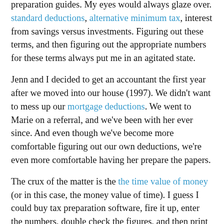preparation guides. My eyes would always glaze over. standard deductions, alternative minimum tax, interest from savings versus investments. Figuring out these terms, and then figuring out the appropriate numbers for these terms always put me in an agitated state.
Jenn and I decided to get an accountant the first year after we moved into our house (1997). We didn't want to mess up our mortgage deductions. We went to Marie on a referral, and we've been with her ever since. And even though we've become more comfortable figuring out our own deductions, we're even more comfortable having her prepare the papers.
The crux of the matter is the the time value of money (or in this case, the money value of time). I guess I could buy tax preparation software, fire it up, enter the numbers, double check the figures, and then print out the forms (or file it electronically), but how many hours is that? How many moments will I have second-guessing myself? And isn't Project Greenlight on television tonight?
The amount of time I spent thinking about my taxes this year